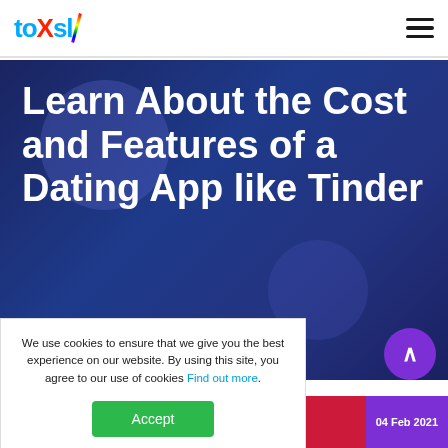toXSL [logo] | hamburger menu
Learn About the Cost and Features of a Dating App like Tinder
Home > Blog > Blog Detail
We use cookies to ensure that we give you the best experience on our website. By using this site, you agree to our use of cookies Find out more.
Accept
toXSL | 04 Feb 2021